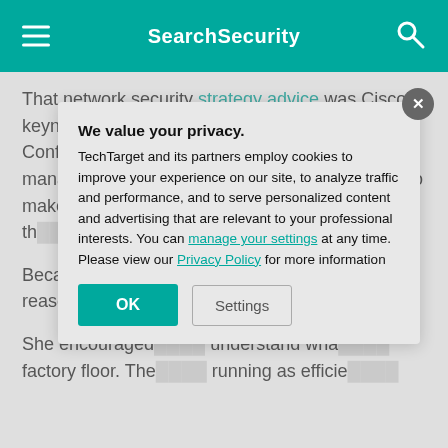SearchSecurity
That network security strategy advice was Cisco's keynote message to security pros at the RSA Conference here this week. Liz Centoni, general manager of IoT at Cisco, encouraged attendees to make security th... people responsi...
Because both si... "bridge" between... reason that IT te... teams are kind o...
She encouraged... understand wha... factory floor. The... running as efficie...
We value your privacy.
TechTarget and its partners employ cookies to improve your experience on our site, to analyze traffic and performance, and to serve personalized content and advertising that are relevant to your professional interests. You can manage your settings at any time. Please view our Privacy Policy for more information